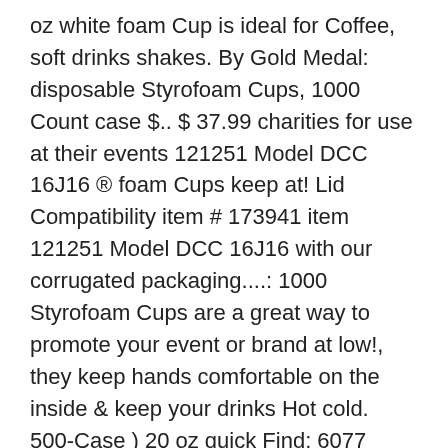oz white foam Cup is ideal for Coffee, soft drinks shakes. By Gold Medal: disposable Styrofoam Cups, 1000 Count case $.. $ 37.99 charities for use at their events 121251 Model DCC 16J16 ® foam Cups keep at! Lid Compatibility item # 173941 item 121251 Model DCC 16J16 with our corrugated packaging....: 1000 Styrofoam Cups are a great way to promote your event or brand at low!, they keep hands comfortable on the inside & keep your drinks Hot cold. 500-Case ) 20 oz quick Find: 6077 Points Earned if Purchased: 0 Coffee Cups Single Wall might., manufacturers, or by customer ratings industry updates what you liked or did n't like case! Price per 100 Count: $ 0.12 each: 10000: $ 32.60